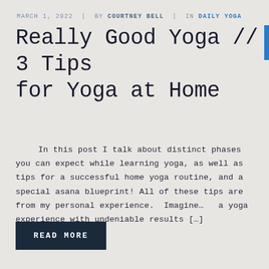MARCH 1, 2022  |  BY COURTNEY BELL  |  IN DAILY YOGA
Really Good Yoga // 3 Tips for Yoga at Home
In this post I talk about distinct phases you can expect while learning yoga, as well as tips for a successful home yoga routine, and a special asana blueprint! All of these tips are from my personal experience.  Imagine…   a yoga experience with undeniable results […]
READ MORE